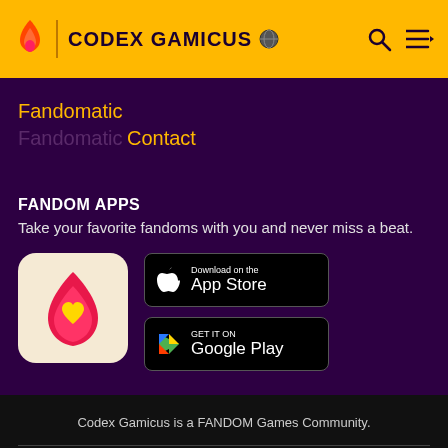CODEX GAMICUS
Fandomatic
Contact
FANDOM APPS
Take your favorite fandoms with you and never miss a beat.
[Figure (logo): Fandom app icon with pink flame and yellow heart on cream background]
[Figure (logo): Download on the App Store button (black)]
[Figure (logo): Get it on Google Play button (black)]
Codex Gamicus is a FANDOM Games Community.
VIEW FULL SITE